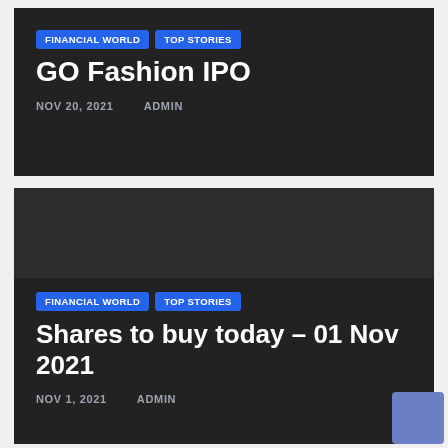FINANCIAL WORLD | TOP STORIES
GO Fashion IPO
NOV 20, 2021   ADMIN
FINANCIAL WORLD | TOP STORIES
Shares to buy today – 01 Nov 2021
NOV 1, 2021   ADMIN